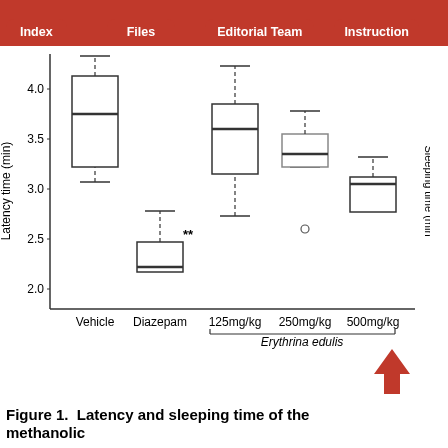Index | Files | Editorial Team | Instructions
[Figure (other): Box plot chart showing Latency time (min) on y-axis (range 2.0 to 4.0+) for five groups on x-axis: Vehicle, Diazepam (marked **), 125mg/kg, 250mg/kg, 500mg/kg. The 125mg/kg, 250mg/kg, and 500mg/kg groups are labeled as Erythrina edulis. Diazepam group shows lowest median (~2.2), Vehicle shows highest (~3.75). A partial y-axis label 'Sleeping time (min)' is visible on right edge.]
Figure 1.  Latency and sleeping time of the methanolic